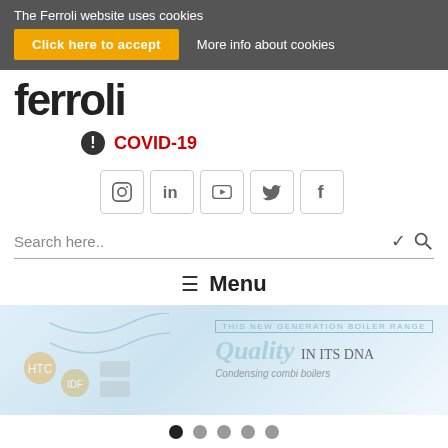The Ferroli website uses cookies
Click here to accept
More info about cookies
[Figure (logo): Ferroli logo in large dark bold text]
COVID-19
[Figure (infographic): Social media icons: Instagram, LinkedIn, YouTube, Twitter, Facebook]
Search here..
Menu
[Figure (screenshot): Hero banner with 'Quality IN ITS DNA - Condensing combi boilers' text and decorative DNA/icons graphic]
Carousel navigation dots (5 dots, first active)